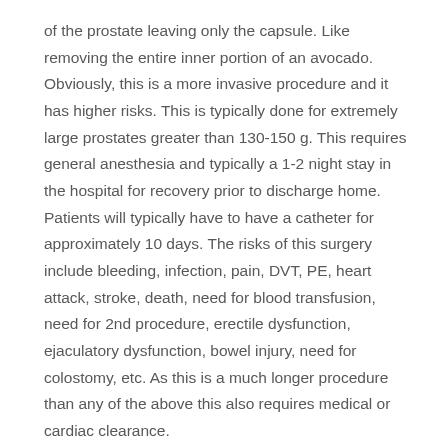of the prostate leaving only the capsule. Like removing the entire inner portion of an avocado. Obviously, this is a more invasive procedure and it has higher risks. This is typically done for extremely large prostates greater than 130-150 g. This requires general anesthesia and typically a 1-2 night stay in the hospital for recovery prior to discharge home. Patients will typically have to have a catheter for approximately 10 days. The risks of this surgery include bleeding, infection, pain, DVT, PE, heart attack, stroke, death, need for blood transfusion, need for 2nd procedure, erectile dysfunction, ejaculatory dysfunction, bowel injury, need for colostomy, etc. As this is a much longer procedure than any of the above this also requires medical or cardiac clearance.
The 6th option is experimental studies.
There is currently a study with embolization of the